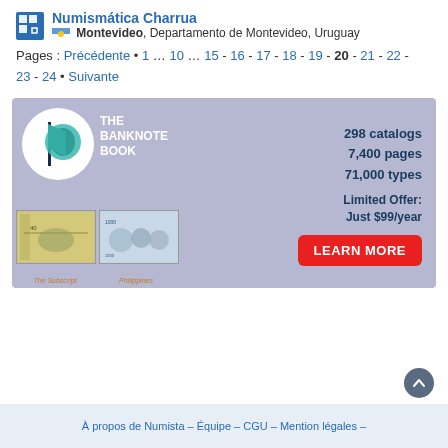Numismática Charrua — Montevideo, Departamento de Montevideo, Uruguay
Pages : Précédente • 1 … 10 … 15 - 16 - 17 - 18 - 19 - 20 - 21 - 22 - 23 - 24 • Suivante
[Figure (infographic): Advertisement banner for The Banknote Book: 298 catalogs, 7,400 pages, 71,000 types. Limited Offer: Just $99/year. LEARN MORE button. Shows banknote images for 'The Subscript' and 'Philippines'.]
À propos de Numista – Équipe – CGU – Mention légales –